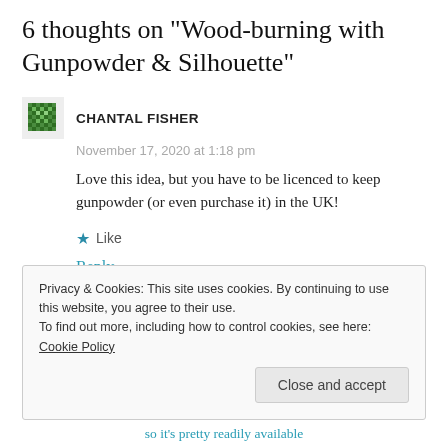6 thoughts on “Wood-burning with Gunpowder & Silhouette”
CHANTAL FISHER
November 17, 2020 at 1:18 pm
Love this idea, but you have to be licenced to keep gunpowder (or even purchase it) in the UK!
★ Like
Reply →
Privacy & Cookies: This site uses cookies. By continuing to use this website, you agree to their use.
To find out more, including how to control cookies, see here: Cookie Policy
Close and accept
so it’s pretty readily available